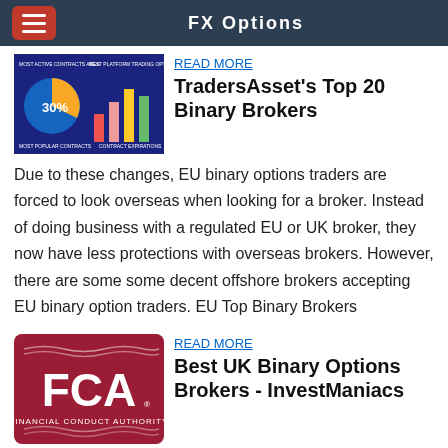FX Options
READ MORE
TradersAsset's Top 20 Binary Brokers
Due to these changes, EU binary options traders are forced to look overseas when looking for a broker. Instead of doing business with a regulated EU or UK broker, they now have less protections with overseas brokers. However, there are some some decent offshore brokers accepting EU binary option traders. EU Top Binary Brokers
READ MORE
Best UK Binary Options Brokers - InvestManiacs
A List of Brokers that are Regulated in the United Kingdom (UK) by the FCA (Financial Conduct Authority). Find the Best Forex Broker Regulated by the FCA. Forex Brokers Broker Comparison Forex Spreads Forex Swaps Forex Volumes